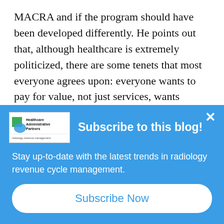MACRA and if the program should have been developed differently. He points out that, although healthcare is extremely politicized, there are some tenets that most everyone agrees upon: everyone wants to pay for value, not just services, wants reductions in cost and administrative burdens. Yet there is still no real understanding as to how to achieve such goals. A huge positive development, however, is the industry focus on outcome-based measure development to support value-based care
[Figure (screenshot): Popup subscription widget with blue background, Healthcare Administrative Partners logo, 'Subscribe to this blog!' heading, body text about radiology revenue cycle management, and a 'Subscribe Now' button.]